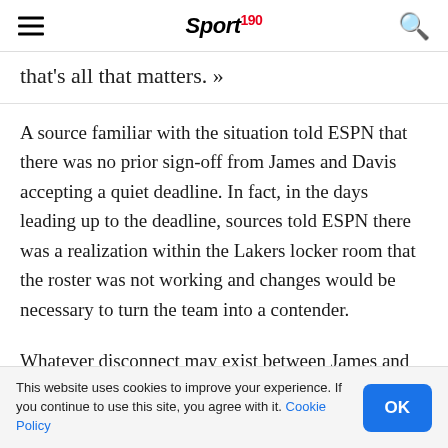Sport 190
that's all that matters. »
A source familiar with the situation told ESPN that there was no prior sign-off from James and Davis accepting a quiet deadline. In fact, in the days leading up to the deadline, sources told ESPN there was a realization within the Lakers locker room that the roster was not working and changes would be necessary to turn the team into a contender.
Whatever disconnect may exist between James and
This website uses cookies to improve your experience. If you continue to use this site, you agree with it. Cookie Policy